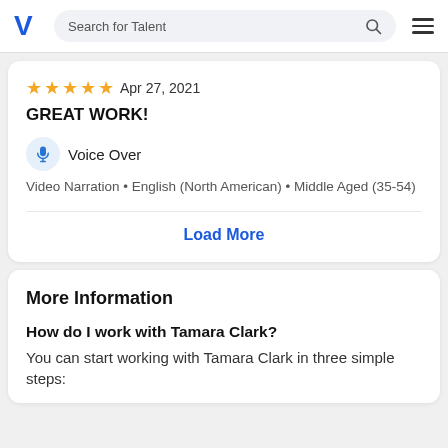Search for Talent
★★★★★ Apr 27, 2021
GREAT WORK!
Voice Over
Video Narration • English (North American) • Middle Aged (35-54)
Load More
More Information
How do I work with Tamara Clark?
You can start working with Tamara Clark in three simple steps: